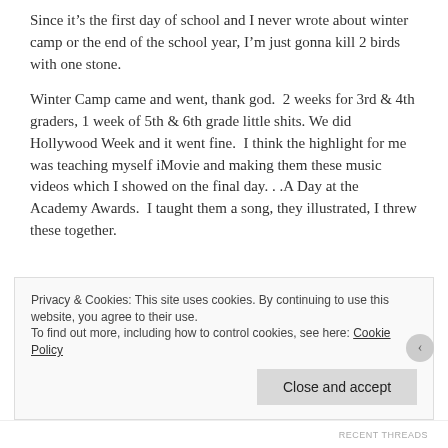Since it’s the first day of school and I never wrote about winter camp or the end of the school year, I’m just gonna kill 2 birds with one stone.
Winter Camp came and went, thank god.  2 weeks for 3rd & 4th graders, 1 week of 5th & 6th grade little shits. We did Hollywood Week and it went fine.  I think the highlight for me was teaching myself iMovie and making them these music videos which I showed on the final day. . .A Day at the Academy Awards.  I taught them a song, they illustrated, I threw these together.
Privacy & Cookies: This site uses cookies. By continuing to use this website, you agree to their use.
To find out more, including how to control cookies, see here: Cookie Policy
Close and accept
RECENT THREADS